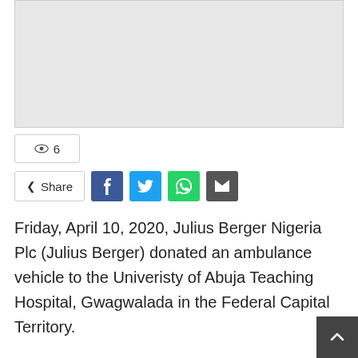[Figure (photo): Placeholder image area (light grey rectangle)]
👁 6
Share (social share buttons: Facebook, Twitter, WhatsApp, Email)
Friday, April 10, 2020, Julius Berger Nigeria Plc (Julius Berger) donated an ambulance vehicle to the Univeristy of Abuja Teaching Hospital, Gwagwalada in the Federal Capital Territory.